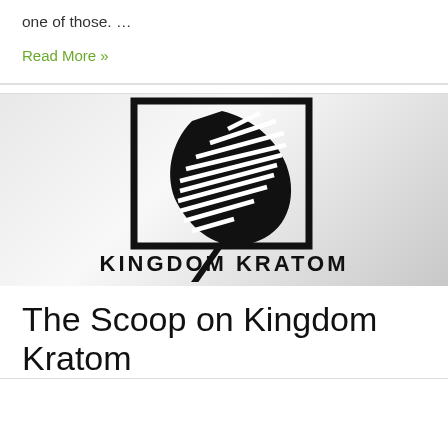one of those. …
Read More »
[Figure (logo): Kingdom Kratom logo: a stylized black leaf with horizontal stripe pattern inside a square border, with 'KINGDOM KRATOM' text below in bold block letters, on a grey gradient background.]
The Scoop on Kingdom Kratom